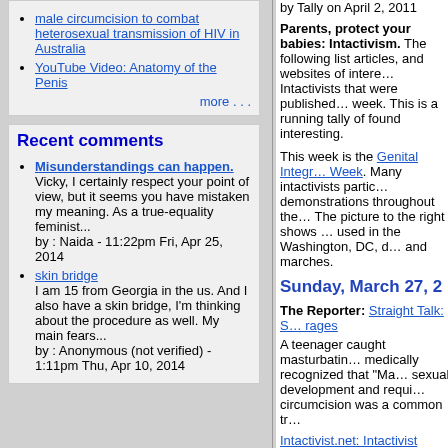male circumcision to combat heterosexual transmission of HIV in Australia
YouTube Video: Anatomy of the Penis
more . . .
Recent comments
Misunderstandings can happen.
Vicky, I certainly respect your point of view, but it seems you have mistaken my meaning. As a true-equality feminist...
by : Naida - 11:22pm Fri, Apr 25, 2014
skin bridge
I am 15 from Georgia in the us. And I also have a skin bridge, I'm thinking about the procedure as well. My main fears...
by : Anonymous (not verified) - 1:11pm Thu, Apr 10, 2014
by Tally on April 2, 2011
Parents, protect your babies: Intactivism. The following list articles, and websites of interest to Intactivists that were published this week. This is a running tally of found interesting.
This week is the Genital Integrity Week. Many intactivists participated in demonstrations throughout the world. The picture to the right shows a sign used in the Washington, DC, demonstrations and marches.
Sunday, March 27, 2
The Reporter: Straight Talk: S... rages
A teenager caught masturbating medically recognized that "Ma... sexual development and requiring circumcision was a common tr...
Intactivist.net: Intactivist Blog:...